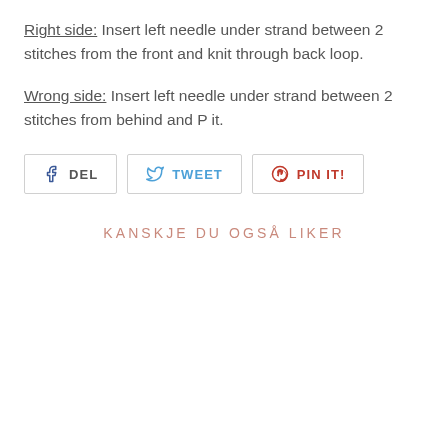Right side: Insert left needle under strand between 2 stitches from the front and knit through back loop.
Wrong side: Insert left needle under strand between 2 stitches from behind and P it.
[Figure (other): Social sharing buttons: DEL (Facebook), TWEET (Twitter), PIN IT! (Pinterest)]
KANSKJE DU OGSÅ LIKER